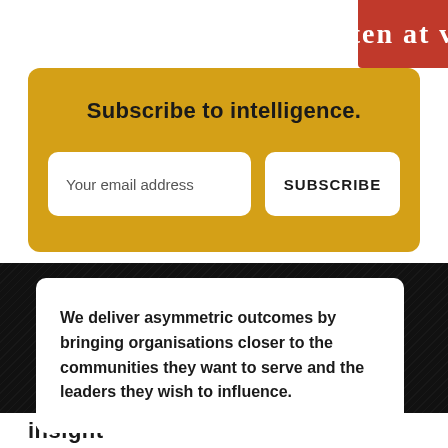[Figure (photo): Partial cropped image fragment in top-right corner showing red background with white text partially reading 'ten at v']
Subscribe to intelligence.
Your email address
SUBSCRIBE
[Figure (photo): Dark/black textured background section with fabric-like diagonal texture pattern]
We deliver asymmetric outcomes by bringing organisations closer to the communities they want to serve and the leaders they wish to influence.
insight